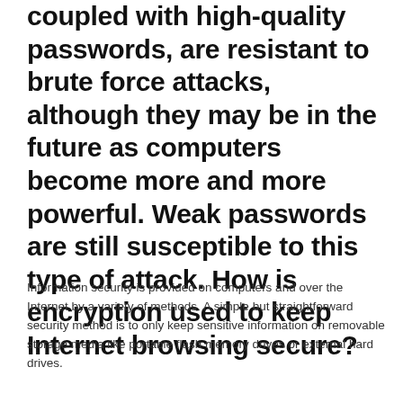coupled with high-quality passwords, are resistant to brute force attacks, although they may be in the future as computers become more and more powerful. Weak passwords are still susceptible to this type of attack. How is encryption used to keep Internet browsing secure?
Information security is provided on computers and over the Internet by a variety of methods. A simple but straightforward security method is to only keep sensitive information on removable storage media like portable flash memory drives or external hard drives.